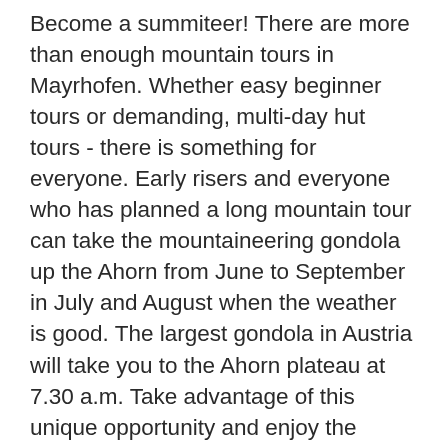Become a summiteer! There are more than enough mountain tours in Mayrhofen. Whether easy beginner tours or demanding, multi-day hut tours - there is something for everyone. Early risers and everyone who has planned a long mountain tour can take the mountaineering gondola up the Ahorn from June to September in July and August when the weather is good. The largest gondola in Austria will take you to the Ahorn plateau at 7.30 a.m. Take advantage of this unique opportunity and enjoy the morning quiet on the Mount Ahorn pleasure mountain! By the way: At the Ahorn there is the entrance gate to the 372km² high mountain nature park Zillertal Alps. Below you will find some tour suggestions, maybe there is one or the other route for you. Panoramic circular route Penken over the Zirbenwegstrong You can get to the Penkenjoch via paths 22 and 22a. The return march leads past the small Penkensee and along the Zirbenweg No. 23 and 23a. You can expect a